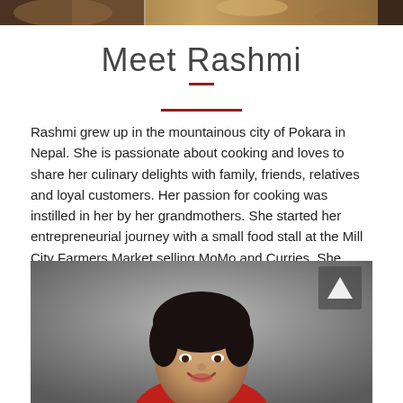[Figure (photo): Top strip showing partial food/market photographs in warm tones]
Meet Rashmi
Rashmi grew up in the mountainous city of Pokara in Nepal. She is passionate about cooking and loves to share her culinary delights with family, friends, relatives and loyal customers. Her passion for cooking was instilled in her by her grandmothers. She started her entrepreneurial journey with a small food stall at the Mill City Farmers Market selling MoMo and Curries. She plans to continue the market's tradition of promoting local farms, organic and fresh high quality ingredients. Rashmi holds a Bachelor's degree in Human Resources Management and a Masters Degree in Business Management .
[Figure (photo): Portrait photo of Rashmi, a woman with dark hair wearing a red top, smiling, against a grey background. A back/up arrow button appears in the top-right corner of the photo.]